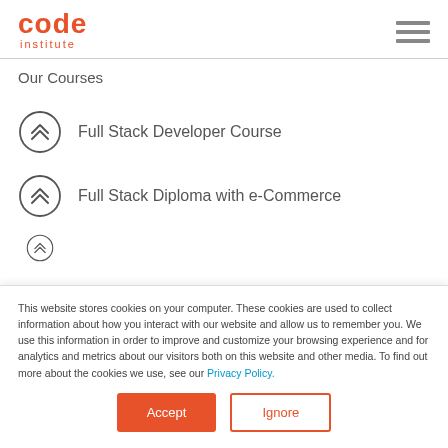code institute
Our Courses
Full Stack Developer Course
Full Stack Diploma with e-Commerce
This website stores cookies on your computer. These cookies are used to collect information about how you interact with our website and allow us to remember you. We use this information in order to improve and customize your browsing experience and for analytics and metrics about our visitors both on this website and other media. To find out more about the cookies we use, see our Privacy Policy.
Accept | Ignore